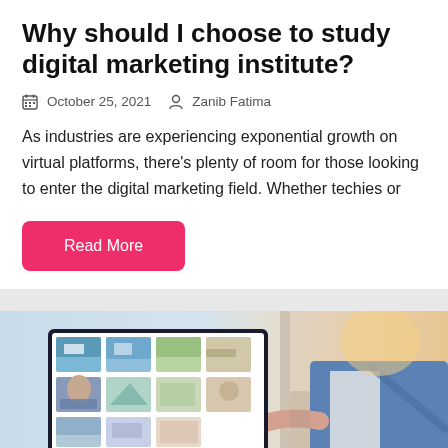Why should I choose to study digital marketing institute?
October 25, 2021   Zanib Fatima
As industries are experiencing exponential growth on virtual platforms, there's plenty of room for those looking to enter the digital marketing field. Whether techies or
Read More
[Figure (photo): Person pointing at a computer monitor displaying a grid of images/cards, in a bright office setting]